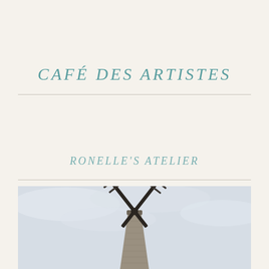CAFÉ DES ARTISTES
RONELLE'S ATELIER
[Figure (photo): Photograph of a windmill against a grey cloudy sky, showing the triangular stone tower and black latticed sails crossing in an X shape]